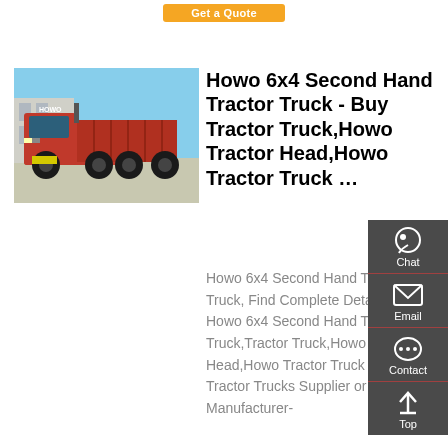[Figure (other): Orange 'Get a Quote' button at the top center of the page]
[Figure (photo): Photo of a red Howo 6x4 dump/tractor truck parked outdoors in a yard with buildings in the background]
Howo 6x4 Second Hand Tractor Truck - Buy Tractor Truck,Howo Tractor Head,Howo Tractor Truck ...
Howo 6x4 Second Hand Tractor Truck, Find Complete Details about Howo 6x4 Second Hand Tractor Truck,Tractor Truck,Howo Tractor Head,Howo Tractor Truck from Tractor Trucks Supplier or Manufacturer-